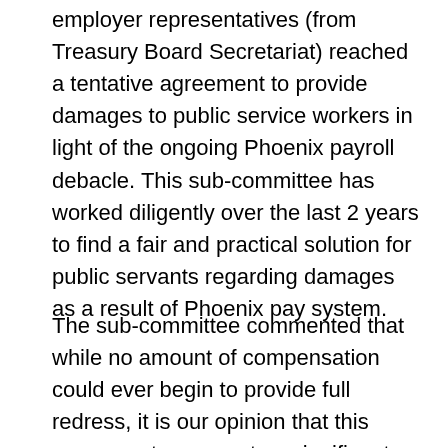employer representatives (from Treasury Board Secretariat) reached a tentative agreement to provide damages to public service workers in light of the ongoing Phoenix payroll debacle. This sub-committee has worked diligently over the last 2 years to find a fair and practical solution for public servants regarding damages as a result of Phoenix pay system.
The sub-committee commented that while no amount of compensation could ever begin to provide full redress, it is our opinion that this agreement represents a significant and concrete